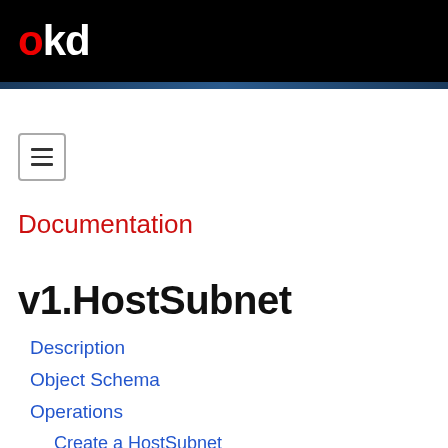okd
[Figure (other): Hamburger menu button icon with three horizontal lines inside a square border]
Documentation
v1.HostSubnet
Description
Object Schema
Operations
Create a HostSubnet